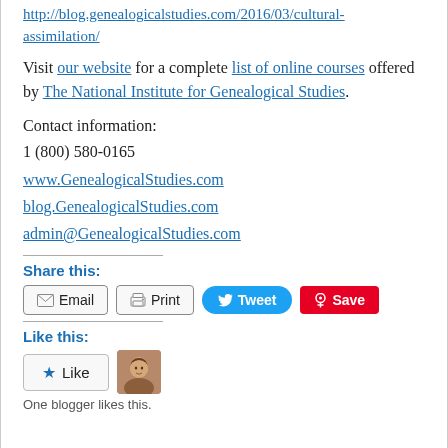http://blog.genealogicalstudies.com/2016/03/cultural-assimilation/
Visit our website for a complete list of online courses offered by The National Institute for Genealogical Studies.
Contact information:
1 (800) 580-0165
www.GenealogicalStudies.com
blog.GenealogicalStudies.com
admin@GenealogicalStudies.com
Share this:
Email  Print  Tweet  Save
Like this:
Like  [avatar]  One blogger likes this.